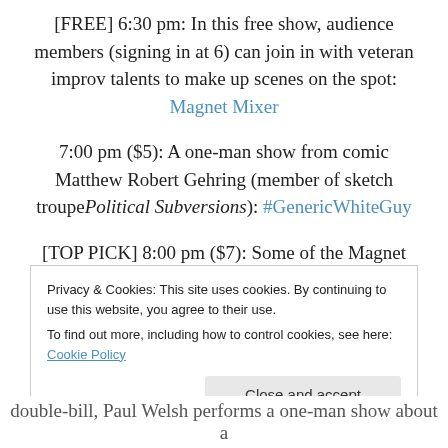[FREE] 6:30 pm: In this free show, audience members (signing in at 6) can join in with veteran improv talents to make up scenes on the spot: Magnet Mixer
7:00 pm ($5): A one-man show from comic Matthew Robert Gehring (member of sketch troupe Political Subversions): #GenericWhiteGuy
[TOP PICK] 8:00 pm ($7): Some of the Magnet Theatre's finest improvisors make up theatrical plays on the spot: Playhouse
Privacy & Cookies: This site uses cookies. By continuing to use this website, you agree to their use. To find out more, including how to control cookies, see here: Cookie Policy
double-bill, Paul Welsh performs a one-man show about a